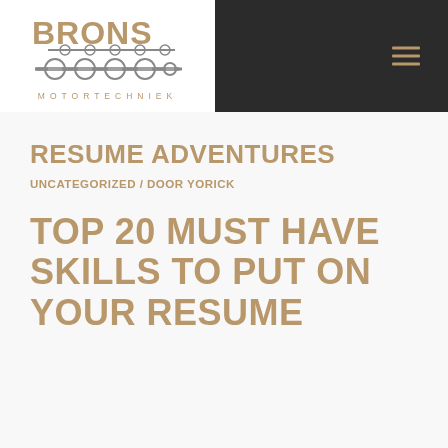[Figure (logo): Brons Motortechniek logo with crankshaft image and tan/gold text on white background, inside dark header bar with hamburger menu icon]
RESUME ADVENTURES
UNCATEGORIZED / DOOR YORICK
TOP 20 MUST HAVE SKILLS TO PUT ON YOUR RESUME